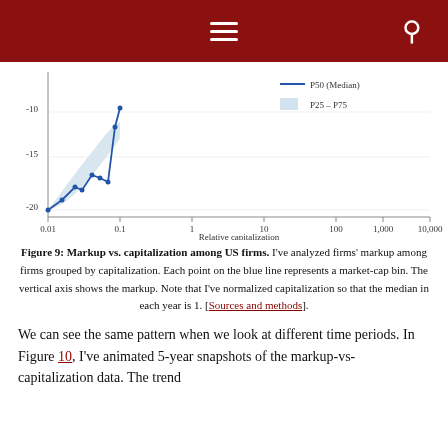≡  🔍
[Figure (continuous-plot): Partial view of a line chart showing markup vs. relative capitalization. The vertical axis shows values from -20 to -10. The horizontal axis shows relative capitalization (Annual median = 1) on a log scale from 0.01 to 10,000. A blue line (P50 Median) rises from about -20 at 0.01 to about -10 at 0.1, with a shaded light-blue area representing P25–P75 range.]
Figure 9: Markup vs. capitalization among US firms. I've analyzed firms' markup among firms grouped by capitalization. Each point on the blue line represents a market-cap bin. The vertical axis shows the markup. Note that I've normalized capitalization so that the median in each year is 1. [Sources and methods].
We can see the same pattern when we look at different time periods. In Figure 10, I've animated 5-year snapshots of the markup-vs-capitalization data. The trend